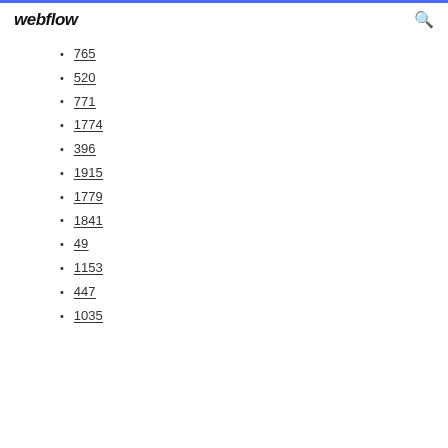webflow
765
520
771
1774
396
1915
1779
1841
49
1153
447
1035